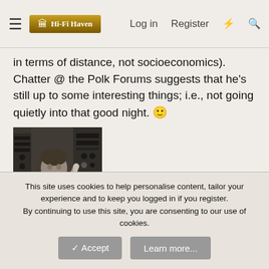Hi-Fi Haven | Log in | Register
in terms of distance, not socioeconomics). Chatter @ the Polk Forums suggests that he's still up to some interesting things; i.e., not going quietly into that good night. 🙂
[Figure (photo): Black and white photograph of a person in a recording studio or electronics lab, surrounded by equipment panels]
JHU has most of its old yearbooks on line. I looked for him in the relevant years and he's mentioned in his graduating class, but no photo. Of course, no photo of me in mine, either, so I can't fault him -- but I thought it would've been fun to see him in his...
This site uses cookies to help personalise content, tailor your experience and to keep you logged in if you register.
By continuing to use this site, you are consenting to our use of cookies.